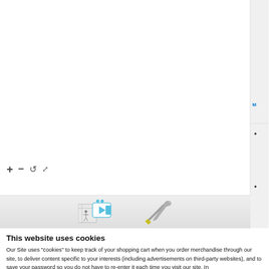[Figure (screenshot): Map viewer interface with white/light grey background, showing an empty map area with zoom/rotate/fullscreen controls and a right sidebar with navigation links and bullet points, plus a bottom icon strip with video tutorial and tools icons]
M
•
•
This website uses cookies
Our Site uses "cookies" to keep track of your shopping cart when you order merchandise through our site, to deliver content specific to your interests (including advertisements on third-party websites), and to save your password so you do not have to re-enter it each time you visit our site. In